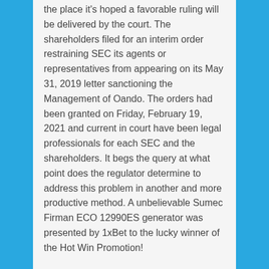the place it's hoped a favorable ruling will be delivered by the court. The shareholders filed for an interim order restraining SEC its agents or representatives from appearing on its May 31, 2019 letter sanctioning the Management of Oando. The orders had been granted on Friday, February 19, 2021 and current in court have been legal professionals for each SEC and the shareholders. It begs the query at what point does the regulator determine to address this problem in another and more productive method. A unbelievable Sumec Firman ECO 12990ES generator was presented by 1xBet to the lucky winner of the Hot Win Promotion!
get a hundred and forty four$ free guess bonusTo begin using all provides and